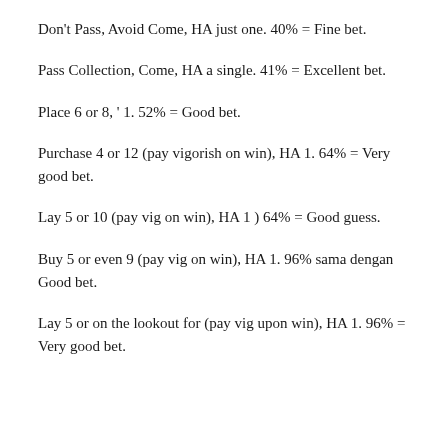Don't Pass, Avoid Come, HA just one. 40% = Fine bet.
Pass Collection, Come, HA a single. 41% = Excellent bet.
Place 6 or 8, ' 1. 52% = Good bet.
Purchase 4 or 12 (pay vigorish on win), HA 1. 64% = Very good bet.
Lay 5 or 10 (pay vig on win), HA 1 ) 64% = Good guess.
Buy 5 or even 9 (pay vig on win), HA 1. 96% sama dengan Good bet.
Lay 5 or on the lookout for (pay vig upon win), HA 1. 96% = Very good bet.